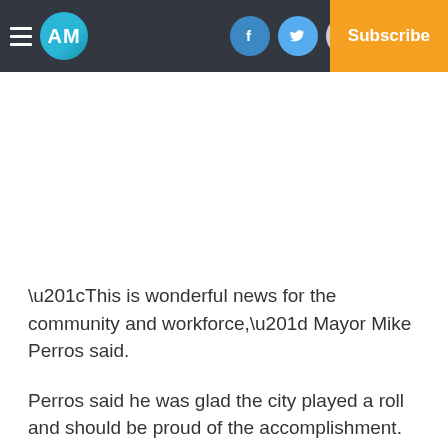AM | Log In | Subscribe
“This is wonderful news for the community and workforce,” Mayor Mike Perros said.
Perros said he was glad the city played a roll and should be proud of the accomplishment.
“This is a demonstration of what can be accomplished when a group of people come